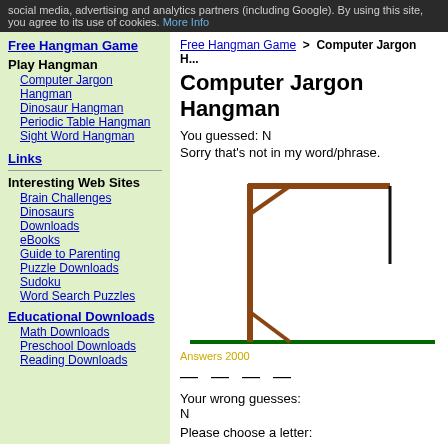social media, advertising and analytics partners (including Google). By using this site, you agree to its use of cookies. More Info
Free Hangman Game
Free Hangman Game > Computer Jargon H...
Computer Jargon Hangman
You guessed: N
Sorry that's not in my word/phrase.
[Figure (illustration): Hangman game scaffold drawing in brown with green base line and black rope line, with diagonal brace marks]
Answers 2000
— — — —
Your wrong guesses:
N
Please choose a letter:
Play Hangman
Computer Jargon Hangman
Dinosaur Hangman
Periodic Table Hangman
Sight Word Hangman
Links
Interesting Web Sites
Brain Challenges
Dinosaurs
Downloads
eBooks
Guide to Parenting
Puzzle Downloads
Sudoku
Word Search Puzzles
Educational Downloads
Math Downloads
Preschool Downloads
Reading Downloads